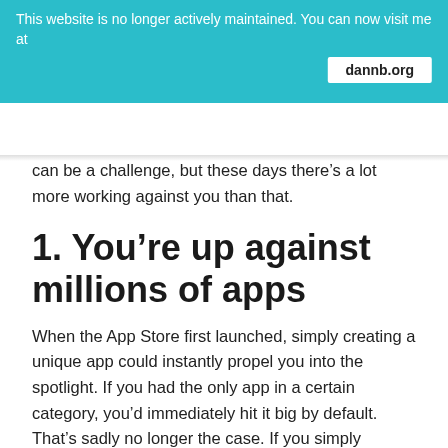This website is no longer actively maintained. You can now visit me at dannb.org
can be a challenge, but these days there’s a lot more working against you than that.
1. You’re up against millions of apps
When the App Store first launched, simply creating a unique app could instantly propel you into the spotlight. If you had the only app in a certain category, you’d immediately hit it big by default. That’s sadly no longer the case. If you simply release your app with no marketing, it will quickly sink into the abyss.
Getting noticed without doing marketing is possible, but